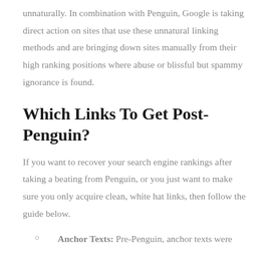unnaturally. In combination with Penguin, Google is taking direct action on sites that use these unnatural linking methods and are bringing down sites manually from their high ranking positions where abuse or blissful but spammy ignorance is found.
Which Links To Get Post-Penguin?
If you want to recover your search engine rankings after taking a beating from Penguin, or you just want to make sure you only acquire clean, white hat links, then follow the guide below.
Anchor Texts: Pre-Penguin, anchor texts were